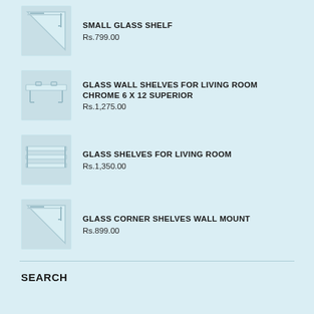[Figure (illustration): Small glass corner shelf product image]
SMALL GLASS SHELF
Rs.799.00
[Figure (illustration): Glass wall shelf chrome product image]
GLASS WALL SHELVES FOR LIVING ROOM CHROME 6 X 12 SUPERIOR
Rs.1,275.00
[Figure (illustration): Glass shelves for living room product image]
GLASS SHELVES FOR LIVING ROOM
Rs.1,350.00
[Figure (illustration): Glass corner shelves wall mount product image]
GLASS CORNER SHELVES WALL MOUNT
Rs.899.00
SEARCH